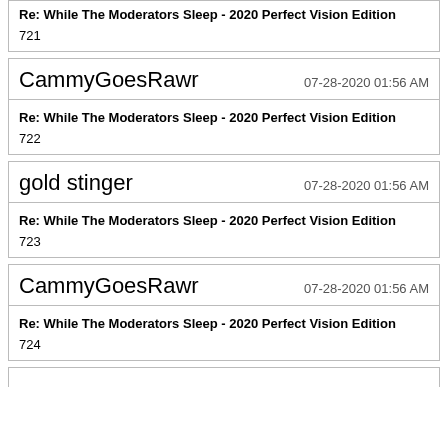Re: While The Moderators Sleep - 2020 Perfect Vision Edition
721
CammyGoesRawr
07-28-2020 01:56 AM
Re: While The Moderators Sleep - 2020 Perfect Vision Edition
722
gold stinger
07-28-2020 01:56 AM
Re: While The Moderators Sleep - 2020 Perfect Vision Edition
723
CammyGoesRawr
07-28-2020 01:56 AM
Re: While The Moderators Sleep - 2020 Perfect Vision Edition
724